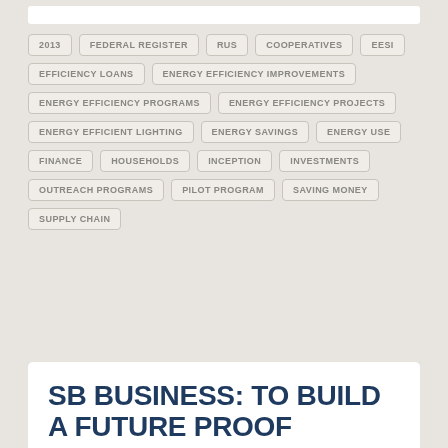2013
FEDERAL REGISTER
RUS
COOPERATIVES
EESI
EFFICIENCY LOANS
ENERGY EFFICIENCY IMPROVEMENTS
ENERGY EFFICIENCY PROGRAMS
ENERGY EFFICIENCY PROJECTS
ENERGY EFFICIENT LIGHTING
ENERGY SAVINGS
ENERGY USE
FINANCE
HOUSEHOLDS
INCEPTION
INVESTMENTS
OUTREACH PROGRAMS
PILOT PROGRAM
SAVING MONEY
SUPPLY CHAIN
SB BUSINESS: TO BUILD A FUTURE PROOF BRAND, BUILD YOUR GLOBAL EXPERT